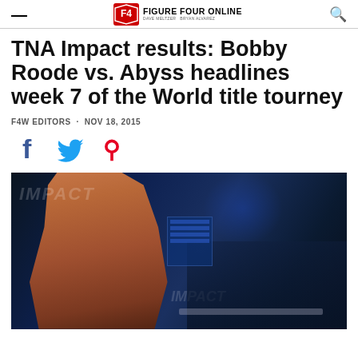Figure Four Online
TNA Impact results: Bobby Roode vs. Abyss headlines week 7 of the World title tourney
F4W EDITORS · NOV 18, 2015
[Figure (photo): Bobby Roode walking at ringside at TNA Impact, shirtless, with crowd and blue arena lighting in background]
[Figure (logo): Figure Four Online logo with F4W shield icon and text FIGURE FOUR ONLINE with Dave Meltzer and Bryan Alvarez]